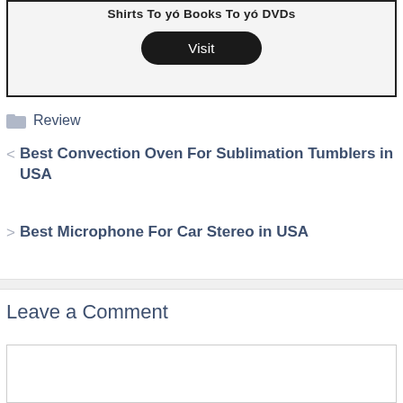[Figure (screenshot): Promotional box with text 'Shirts To yó Books To yó DVDs' and a dark Visit button]
Review
< Best Convection Oven For Sublimation Tumblers in USA
> Best Microphone For Car Stereo in USA
Leave a Comment
[Figure (screenshot): Empty comment text area input box]